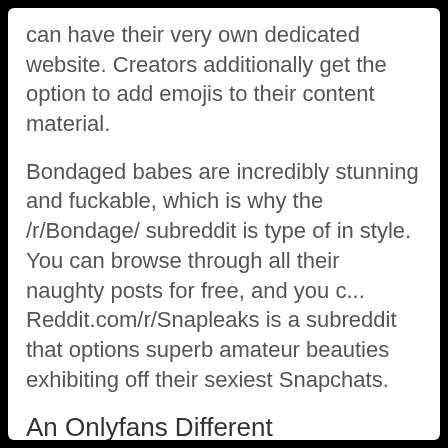can have their very own dedicated website. Creators additionally get the option to add emojis to their content material.
Bondaged babes are incredibly stunning and fuckable, which is why the /r/Bondage/ subreddit is type of in style. You can browse through all their naughty posts for free, and you c... Reddit.com/r/Snapleaks is a subreddit that options superb amateur beauties exhibiting off their sexiest Snapchats.
An Onlyfans Different
Buy as many hot, attractive, cute, seductive panties as possible. Because